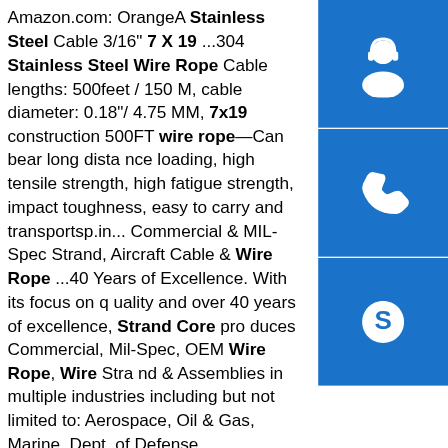Amazon.com: OrangeA Stainless Steel Cable 3/16" 7 X 19 ...304 Stainless Steel Wire Rope Cable lengths: 500feet / 150 M, cable diameter: 0.18"/ 4.75 MM, 7x19 construction 500FT wire rope—Can bear long distance loading, high tensile strength, high fatigue strength, impact toughness, easy to carry and transportsp.in... Commercial & MIL-Spec Strand, Aircraft Cable & Wire Rope ...40 Years of Excellence. With its focus on quality and over 40 years of excellence, Strand Core produces Commercial, Mil-Spec, OEM Wire Rope, Wire Strand & Assemblies in multiple industries including but not limited to: Aerospace, Oil & Gas, Marine, Dept. of Defense, Construction, Medical and …
[Figure (illustration): Three blue square icons stacked vertically on the right: headset/customer service icon, phone icon, Skype icon]
Jiangsu Hongtai Stainless Steel Wire Rope Co.,Ltd Products ...
6.0mm 7x19 AISI 316 Stainless Steel Wire Rope. Dia. 6mm Construction 7x19
[Figure (photo): Photo of stainless steel wire rope or sheet material in an industrial setting]